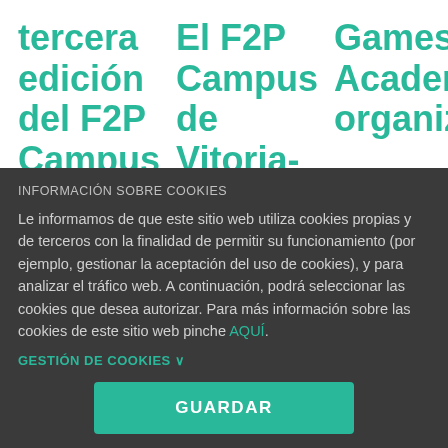tercera edición del F2P Campus
El F2P Campus de Vitoria-
Games Academy organiz
INFORMACIÓN SOBRE COOKIES
Le informamos de que este sitio web utiliza cookies propias y de terceros con la finalidad de permitir su funcionamiento (por ejemplo, gestionar la aceptación del uso de cookies), y para analizar el tráfico web. A continuación, podrá seleccionar las cookies que desea autorizar. Para más información sobre las cookies de este sitio web pinche AQUÍ.
GESTIÓN DE COOKIES ∨
GUARDAR